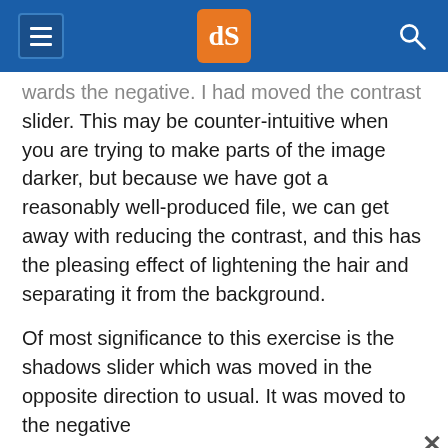dPS (digital photography school logo)
wards the negative. I had moved the contrast slider. This may be counter-intuitive when you are trying to make parts of the image darker, but because we have got a reasonably well-produced file, we can get away with reducing the contrast, and this has the pleasing effect of lightening the hair and separating it from the background.
Of most significance to this exercise is the shadows slider which was moved in the opposite direction to usual. It was moved to the negative